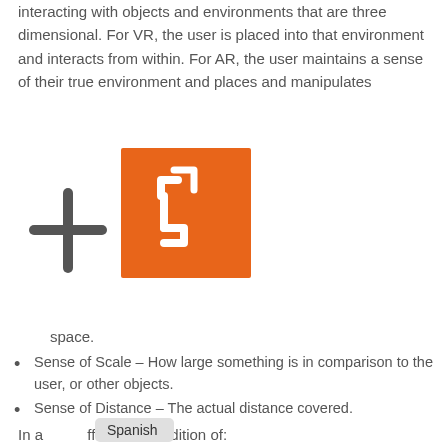interacting with objects and environments that are three dimensional. For VR, the user is placed into that environment and interacts from within. For AR, the user maintains a sense of their true environment and places and manipulates
[Figure (logo): A plus sign on the left and an orange square logo with a stylized letter S inside on the right]
space.
Sense of Scale – How large something is in comparison to the user, or other objects.
Sense of Distance – The actual distance covered.
Sense of Proximity – How near or far something is to a user or another object.
Sense of Materiality – The color, texture, and material type of a given object, and how it is affected by changes in lighting.
In ad[tooltip: Spanish]ffords the addition of: